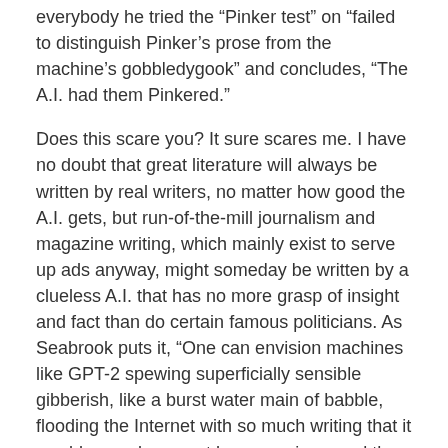everybody he tried the “Pinker test” on “failed to distinguish Pinker’s prose from the machine’s gobbledygook” and concludes, “The A.I. had them Pinkered.”
Does this scare you? It sure scares me. I have no doubt that great literature will always be written by real writers, no matter how good the A.I. gets, but run-of-the-mill journalism and magazine writing, which mainly exist to serve up ads anyway, might someday be written by a clueless A.I. that has no more grasp of insight and fact than do certain famous politicians. As Seabrook puts it, “One can envision machines like GPT-2 spewing superficially sensible gibberish, like a burst water main of babble, flooding the Internet with so much writing that it would soon drown out human voices, and then training on its own meaningless prose, like a cow chewing its cud.”
Hoping against hope that this A.I. capability is overrated, I have been paying close attention to how well it has done across the devices I use, and recording its more salient failures, over the past year. In Internet time, a year is a pretty huge span—in theory I should have seen marked